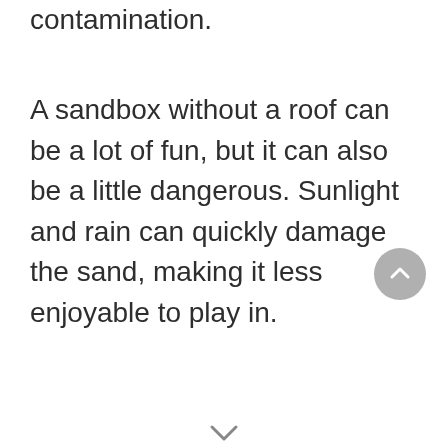contamination.
A sandbox without a roof can be a lot of fun, but it can also be a little dangerous. Sunlight and rain can quickly damage the sand, making it less enjoyable to play in.